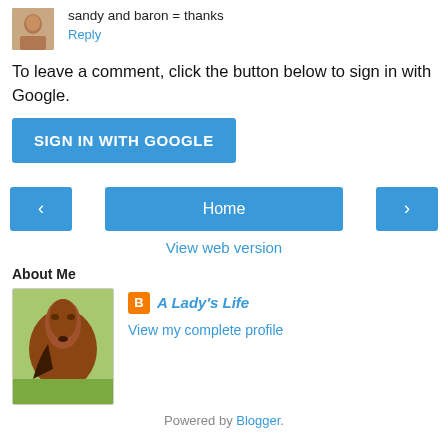[Figure (photo): Small avatar photo of a person]
sandy and baron = thanks
Reply
To leave a comment, click the button below to sign in with Google.
SIGN IN WITH GOOGLE
‹
Home
›
View web version
About Me
[Figure (photo): Profile photo of a brown horse]
A Lady's Life
View my complete profile
Powered by Blogger.